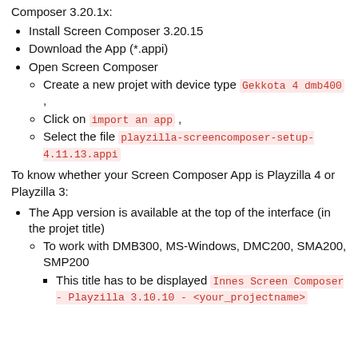Composer 3.20.1x:
Install Screen Composer 3.20.15
Download the App (*.appi)
Open Screen Composer
Create a new projet with device type Gekkota 4 dmb400 ,
Click on import an app ,
Select the file playzilla-screencomposer-setup-4.11.13.appi
To know whether your Screen Composer App is Playzilla 4 or Playzilla 3:
The App version is available at the top of the interface (in the projet title)
To work with DMB300, MS-Windows, DMC200, SMA200, SMP200
This title has to be displayed Innes Screen Composer - Playzilla 3.10.10 - <your_projectname>